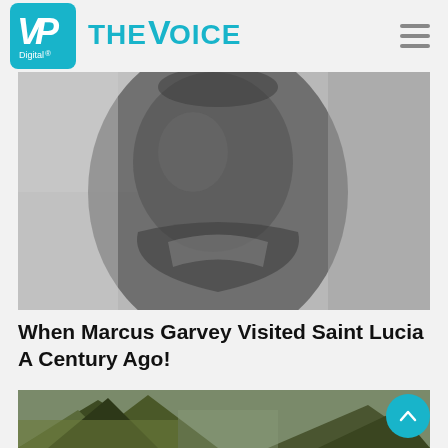VP Digital - The Voice
[Figure (photo): Black and white historical photograph of Marcus Garvey in military-style uniform with decorative collar and epaulettes]
When Marcus Garvey Visited Saint Lucia A Century Ago!
[Figure (photo): Partial view of a mountain landscape with rocky slopes and yellow/green vegetation, likely the Pitons of Saint Lucia]